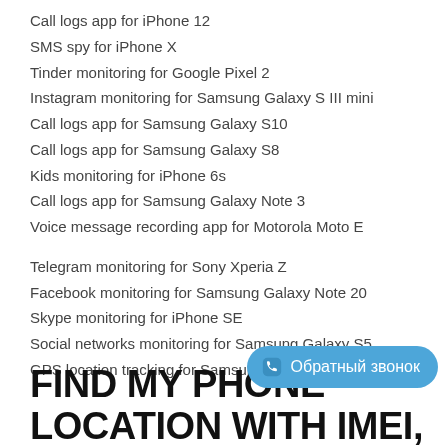Call logs app for iPhone 12
SMS spy for iPhone X
Tinder monitoring for Google Pixel 2
Instagram monitoring for Samsung Galaxy S III mini
Call logs app for Samsung Galaxy S10
Call logs app for Samsung Galaxy S8
Kids monitoring for iPhone 6s
Call logs app for Samsung Galaxy Note 3
Voice message recording app for Motorola Moto E
Telegram monitoring for Sony Xperia Z
Facebook monitoring for Samsung Galaxy Note 20
Skype monitoring for iPhone SE
Social networks monitoring for Samsung Galaxy S5
GPS location tracking for Samsung Galaxy S21
FIND MY PHONE LOCATION WITH IMEI,